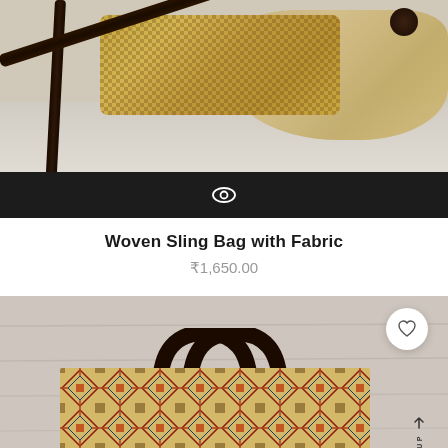[Figure (photo): Photo of a woven sling bag with dark leather strap, displayed on a white surface with jute mat background. Top portion of product listing image.]
[Figure (screenshot): Dark quick-view bar with eye/preview icon centered.]
Woven Sling Bag with Fabric
₹1,650.00
[Figure (photo): Photo of a fabric tote/handbag with Aztec/geometric pattern in red, blue, orange, and beige. Dark rounded handles. Wishlist heart button and SCROLL UP arrow visible on right side.]